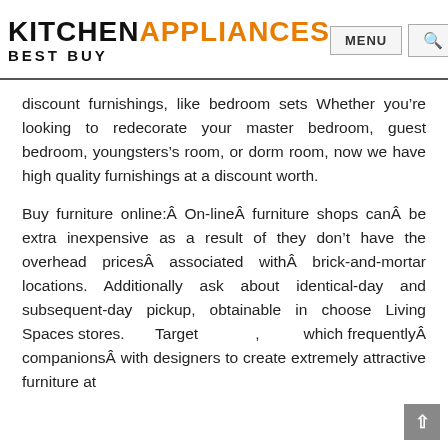KITCHEN APPLIANCES BEST BUY — MENU [search]
discount furnishings, like bedroom sets Whether you’re looking to redecorate your master bedroom, guest bedroom, youngsters’s room, or dorm room, now we have high quality furnishings at a discount worth.
Buy furniture online:Â On-lineÂ furniture shops canÂ be extra inexpensive as a result of they don’t have the overhead pricesÂ associated withÂ brick-and-mortar locations. Additionally ask about identical-day and subsequent-day pickup, obtainable in choose Living Spaces stores. Target , which frequentlyÂ companionsÂ with designers to create extremely attractive furniture at